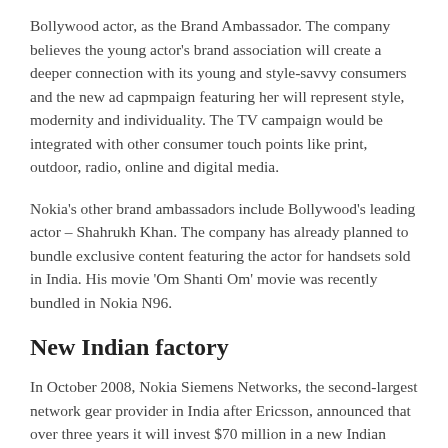Bollywood actor, as the Brand Ambassador. The company believes the young actor's brand association will create a deeper connection with its young and style-savvy consumers and the new ad capmpaign featuring her will represent style, modernity and individuality. The TV campaign would be integrated with other consumer touch points like print, outdoor, radio, online and digital media.
Nokia's other brand ambassadors include Bollywood's leading actor – Shahrukh Khan. The company has already planned to bundle exclusive content featuring the actor for handsets sold in India. His movie 'Om Shanti Om' movie was recently bundled in Nokia N96.
New Indian factory
In October 2008, Nokia Siemens Networks, the second-largest network gear provider in India after Ericsson, announced that over three years it will invest $70 million in a new Indian factory in Chennai (south of India). The unit will make and distribute mobile communication equipment. Nokia Siemens already has a